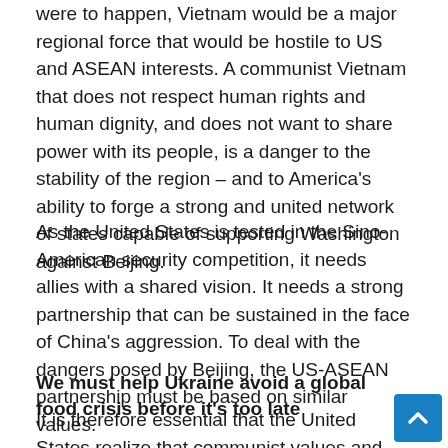were to happen, Vietnam would be a major regional force that would be hostile to US and ASEAN interests. A communist Vietnam that does not respect human rights and human dignity, and does not want to share power with its people, is a danger to the stability of the region – and to America's ability to forge a strong and united network of states capable of supporting Washington against Beijing.
As the United States is tested in the Sino-American security competition, it needs allies with a shared vision. It needs a strong partnership that can be sustained in the face of China's aggression. To deal with the dangers posed by Beijing, the US-ASEAN partnership must be based on similar values.
We must help Ukraine avoid a global food crisis before it's too late
It is therefore essential that the United States realize that communist values and ideology are the definition of the VCP. This makes Vietnam a potentially unreliable partner for the United States and its Democratic allies in the Indo-Pacific. The